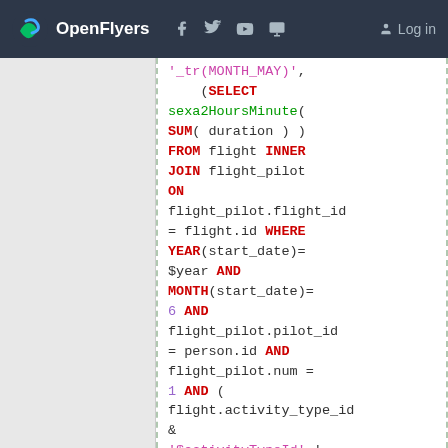OpenFlyers | Log in
SQL code snippet showing a SELECT subquery with sexa2HoursMinute, SUM(duration), FROM flight INNER JOIN flight_pilot ON flight_pilot.flight_id = flight.id WHERE YEAR(start_date)= $year AND MONTH(start_date)= 6 AND flight_pilot.pilot_id = person.id AND flight_pilot.num = 1 AND ( flight.activity_type_id & '$activityTypeId' != 0 OR '-'='$activityTypeId' ) ) AS '_tr(MONTH_JUN)', (SELECT sexa2HoursMinute( SUM( duration )